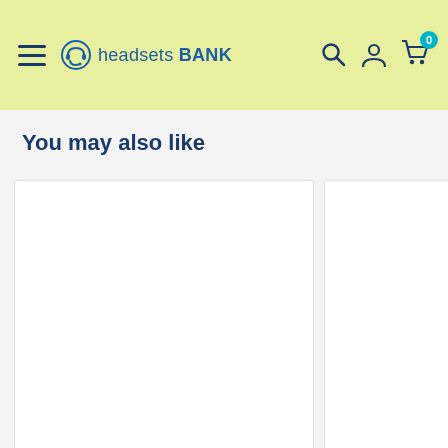headsets BANK — navigation header with hamburger menu, search, account, and cart icons
You may also like
INNOTALK
INNOTALK